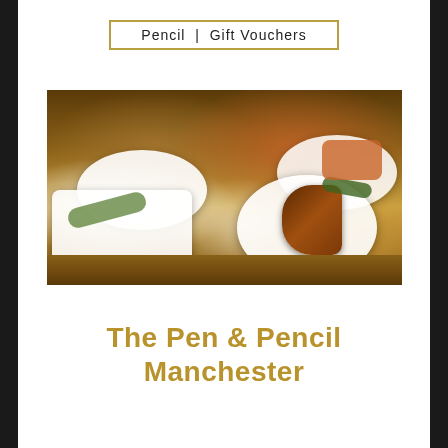Pencil | Gift Vouchers
[Figure (photo): A spread of restaurant dishes on a wooden table, including spring rolls on a square white plate, chicken drumsticks in a round white bowl, and various other dishes with garnishes.]
The Pen & Pencil Manchester